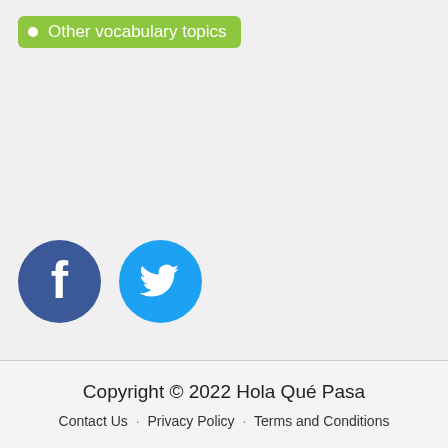• Other vocabulary topics
[Figure (logo): Facebook and Twitter social media icons. Facebook: dark blue circle with white 'f' letter. Twitter: sky blue circle with white bird logo.]
Copyright © 2022 Hola Qué Pasa
Contact Us · Privacy Policy · Terms and Conditions